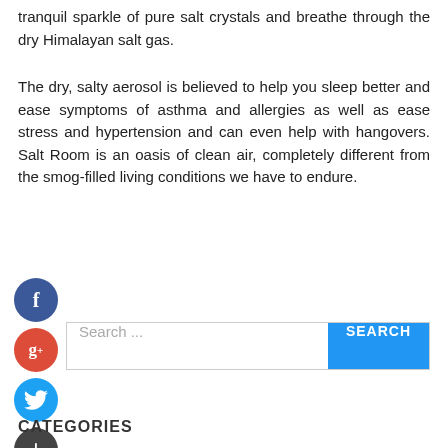tranquil sparkle of pure salt crystals and breathe through the dry Himalayan salt gas.
The dry, salty aerosol is believed to help you sleep better and ease symptoms of asthma and allergies as well as ease stress and hypertension and can even help with hangovers. Salt Room is an oasis of clean air, completely different from the smog-filled living conditions we have to endure.
[Figure (other): Social media icons: Facebook (dark blue circle with f), Google+ (red circle with g+), Twitter (blue circle with bird), and a dark grey circle with plus sign]
[Figure (other): Search bar with placeholder text 'Search ...' and a blue SEARCH button on the right]
CATEGORIES